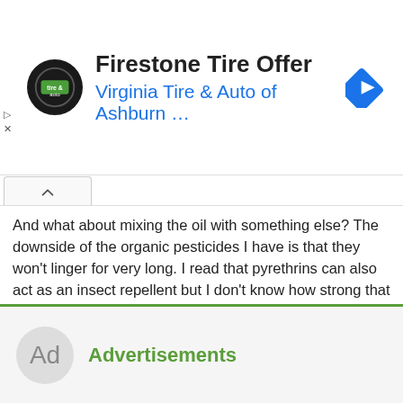[Figure (screenshot): Ad banner for Firestone Tire Offer from Virginia Tire & Auto of Ashburn with circular logo and blue navigation arrow icon]
And what about mixing the oil with something else? The downside of the organic pesticides I have is that they won't linger for very long. I read that pyrethrins can also act as an insect repellent but I don't know how strong that is. And pyrethrins are kind of expensive. The cheapest option is probably BT. I could spray that every four or five days without breaking the bank. But spinosad and pyrethrins will get spendy fast if I have to spray every three or four days.
↩ Reply
Advertisements